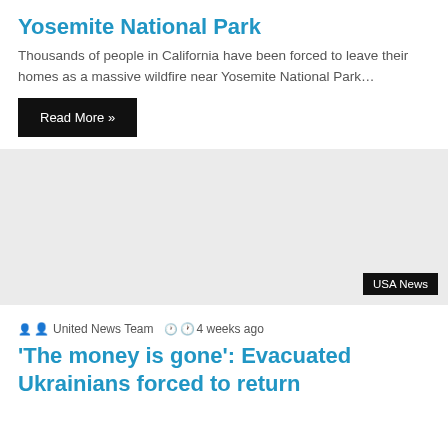Yosemite National Park
Thousands of people in California have been forced to leave their homes as a massive wildfire near Yosemite National Park…
Read More »
[Figure (photo): Large light gray placeholder image with a USA News badge in the bottom right corner]
United News Team  4 weeks ago
'The money is gone': Evacuated Ukrainians forced to return